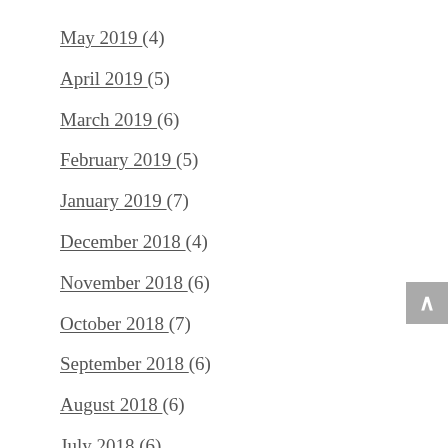May 2019 (4)
April 2019 (5)
March 2019 (6)
February 2019 (5)
January 2019 (7)
December 2018 (4)
November 2018 (6)
October 2018 (7)
September 2018 (6)
August 2018 (6)
July 2018 (6)